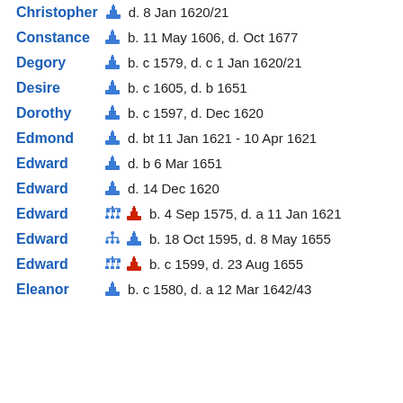Christopher  d. 8 Jan 1620/21
Constance  b. 11 May 1606, d. Oct 1677
Degory  b. c 1579, d. c 1 Jan 1620/21
Desire  b. c 1605, d. b 1651
Dorothy  b. c 1597, d. Dec 1620
Edmond  d. bt 11 Jan 1621 - 10 Apr 1621
Edward  d. b 6 Mar 1651
Edward  d. 14 Dec 1620
Edward  b. 4 Sep 1575, d. a 11 Jan 1621
Edward  b. 18 Oct 1595, d. 8 May 1655
Edward  b. c 1599, d. 23 Aug 1655
Eleanor  b. c 1580, d. a 12 Mar 1642/43